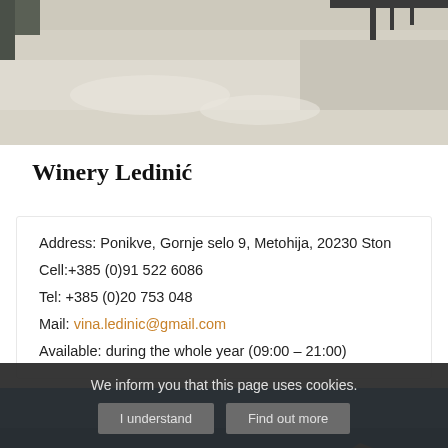[Figure (photo): Aerial or angled view of white stone/salt terrain with structural elements visible at top, partial view cut off]
Winery Ledinić
Address: Ponikve, Gornje selo 9, Metohija, 20230 Ston
Cell:+385 (0)91 522 6086
Tel: +385 (0)20 753 048
Mail: vina.ledinic@gmail.com
Available: during the whole year (09:00 – 21:00)
[Figure (photo): Partial view of a building with blue sky background, appears to be winery exterior]
We inform you that this page uses cookies.
I understand    Find out more